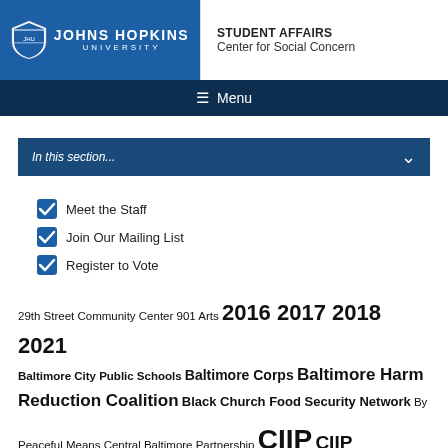JOHNS HOPKINS UNIVERSITY | STUDENT AFFAIRS Center for Social Concern
Menu
In this section...
Meet the Staff
Join Our Mailing List
Register to Vote
29th Street Community Center 901 Arts 2016 2017 2018 2021 Baltimore City Public Schools Baltimore Corps Baltimore Harm Reduction Coalition Black Church Food Security Network By Peaceful Means Central Baltimore Partnership CIIP CIIP